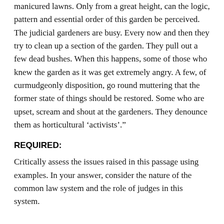manicured lawns. Only from a great height, can the logic, pattern and essential order of this garden be perceived. The judicial gardeners are busy. Every now and then they try to clean up a section of the garden. They pull out a few dead bushes. When this happens, some of those who knew the garden as it was get extremely angry. A few, of curmudgeonly disposition, go round muttering that the former state of things should be restored. Some who are upset, scream and shout at the gardeners. They denounce them as horticultural ‘activists’.”
REQUIRED:
Critically assess the issues raised in this passage using examples. In your answer, consider the nature of the common law system and the role of judges in this system.